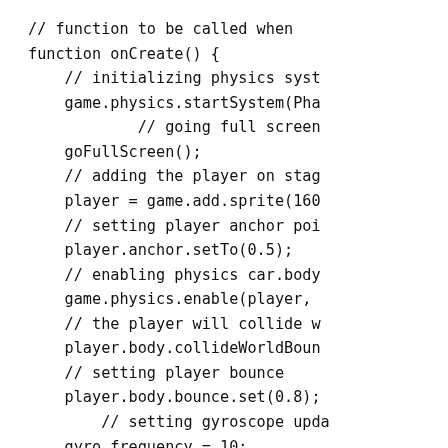// function to be called when
function onCreate() {
    // initializing physics syst
    game.physics.startSystem(Pha
            // going full screen
    goFullScreen();
    // adding the player on stag
    player = game.add.sprite(160
    // setting player anchor poi
    player.anchor.setTo(0.5);
    // enabling physics car.body
    game.physics.enable(player,
    // the player will collide w
    player.body.collideWorldBoun
    // setting player bounce
    player.body.bounce.set(0.8);
        // setting gyroscope upda
    gyro.frequency = 10;